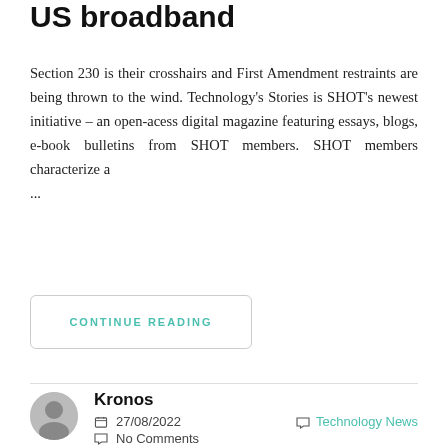US broadband
Section 230 is their crosshairs and First Amendment restraints are being thrown to the wind. Technology's Stories is SHOT's newest initiative – an open-acess digital magazine featuring essays, blogs, e-book bulletins from SHOT members. SHOT members characterize a ...
CONTINUE READING
Kronos
27/08/2022  Technology News
No Comments